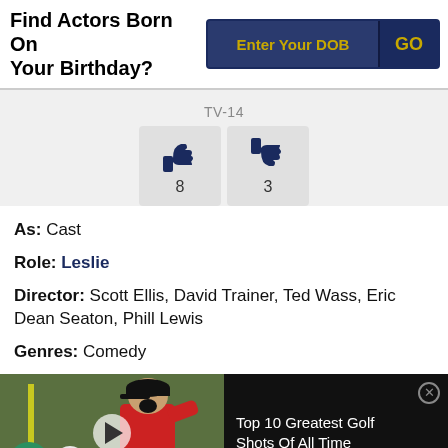Find Actors Born On Your Birthday?
Enter Your DOB
GO
TV-14
[Figure (illustration): Thumbs up icon with count 8 and thumbs down icon with count 3 rating buttons]
As: Cast
Role: Leslie
Director: Scott Ellis, David Trainer, Ted Wass, Eric Dean Seaton, Phill Lewis
Genres: Comedy
[Figure (photo): Video thumbnail showing a golfer (Tiger Woods) celebrating, with a golf ball near a flag, Mojo logo, and text 'Top 10 Greatest Golf Shots Of All Time']